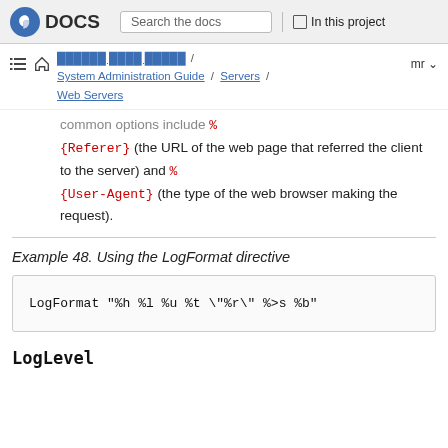DOCS | Search the docs | In this project
System Administration Guide / Servers / Web Servers | mr
common options include %{Referer} (the URL of the web page that referred the client to the server) and %{User-Agent} (the type of the web browser making the request).
Example 48. Using the LogFormat directive
LogFormat "%h %l %u %t \"%r\" %>s %b"
LogLevel